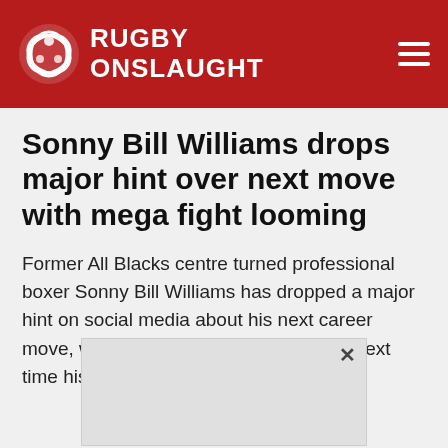RUGBY ONSLAUGHT
Sonny Bill Williams drops major hint over next move with mega fight looming
Former All Blacks centre turned professional boxer Sonny Bill Williams has dropped a major hint on social media about his next career move, with March 2022 looking like the next time his fans will see him fight again.
[Figure (other): Advertisement box with close button (×)]